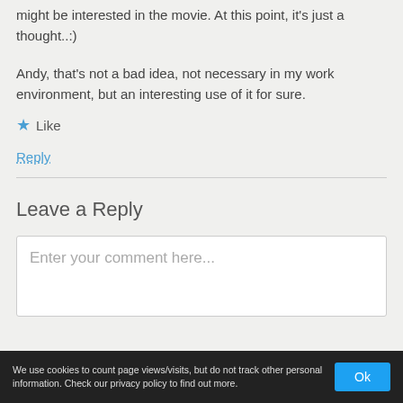might be interested in the movie. At this point, it's just a thought..:)
Andy, that's not a bad idea, not necessary in my work environment, but an interesting use of it for sure.
★ Like
Reply
Leave a Reply
Enter your comment here...
We use cookies to count page views/visits, but do not track other personal information. Check our privacy policy to find out more.